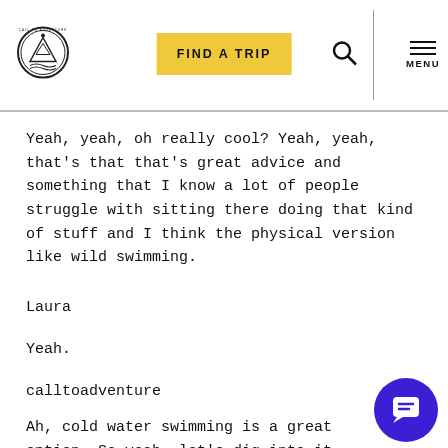FIND A TRIP | MENU
Yeah, yeah, oh really cool? Yeah, yeah, that's that that's great advice and something that I know a lot of people struggle with sitting there doing that kind of stuff and I think the physical version like wild swimming.
Laura
Yeah.
calltoadventure
Ah, cold water swimming is a great option. So yeah, let's dig into it So how did you you you had this event